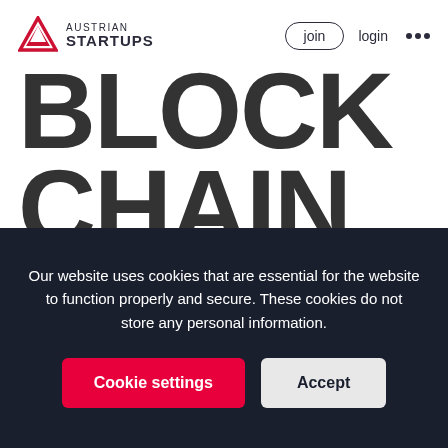Austrian Startups — join | login
[Figure (screenshot): Large bold text reading 'BLOCK CHAIN' in dark gray and '"HUB"' in red, partial view of a blockchain hub promotional image]
Our website uses cookies that are essential for the website to function properly and secure. These cookies do not store any personal information.
Cookie settings | Accept